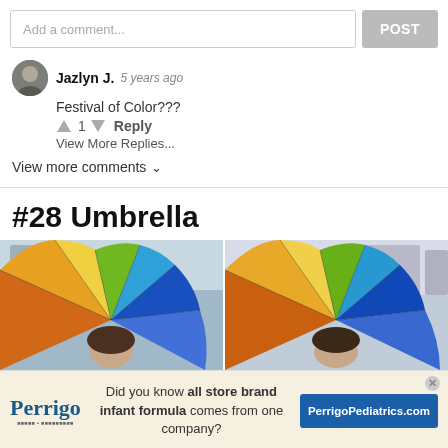Add a comment...
POST
Jazlyn J.  5 years ago
Festival of Color???
↑ 1 ↓  Reply
View More Replies...
View more comments ∨
#28 Umbrella
[Figure (photo): Two side-by-side photos of a colorful rainbow umbrella being held by a person, seen from below against a building backdrop.]
[Figure (infographic): Perrigo advertisement banner: 'Did you know all store brand infant formula comes from one company?' with PerrigoPediatrics.com button.]